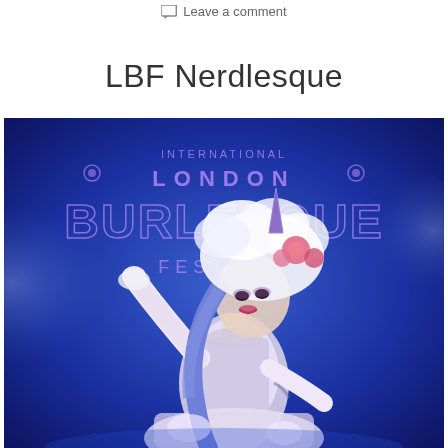Leave a comment
LBF Nerdlesque
[Figure (photo): A burlesque performer on stage dressed as a unicorn with a silver/white sparkly costume, feathered hat with a unicorn horn, long blue hair, and pink flowers. She is performing against a blue-lit backdrop showing the 'International London Burlesque Festival' logo in purple.]